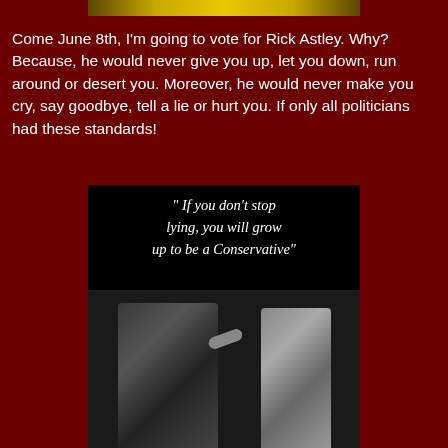[Figure (photo): Partial top banner image, cropped at top of page]
Come June 8th, I'm going to vote for Rick Astley. Why? Because, he would never give you up, let you down, run around or desert you. Moreover, he would never make you cry, say goodbye, tell a lie or hurt you. If only all politicians had these standards!
[Figure (photo): Black and white photo of a woman scolding a boy, with text overlay reading: " If you don't stop lying, you will grow up to be a Conservative"]